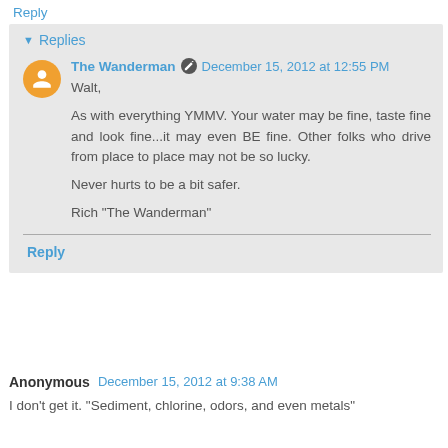Reply
Replies
The Wanderman December 15, 2012 at 12:55 PM
Walt,
As with everything YMMV. Your water may be fine, taste fine and look fine...it may even BE fine. Other folks who drive from place to place may not be so lucky.

Never hurts to be a bit safer.

Rich "The Wanderman"
Reply
Anonymous December 15, 2012 at 9:38 AM
I don't get it. "Sediment, chlorine, odors, and even metals"